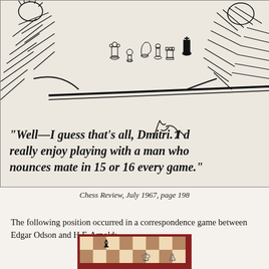[Figure (illustration): Pen and ink cartoon sketch showing two people at a chess table with chess pieces. The cartoon includes a handwritten signature. Caption text within image reads: "Well—I guess that's all, Dmitri. I do really enjoy playing with a man who announces mate in 15 or 16 every game."]
Chess Review, July 1967, page 198
The following position occurred in a correspondence game between Edgar Odson and H.F. Arnold:
[Figure (illustration): Chess board diagram showing a position with various pieces including bishops, rooks, pawns, and kings.]